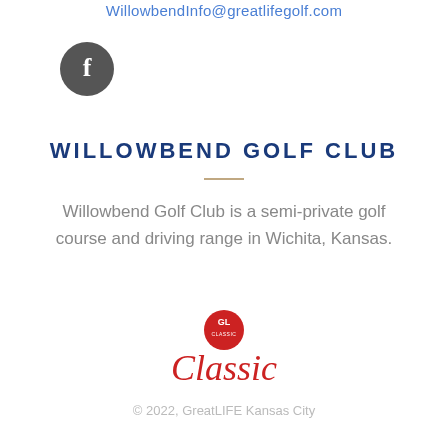WillowbendInfo@greatlifegolf.com
[Figure (logo): Facebook icon - dark gray circle with white letter f]
WILLOWBEND GOLF CLUB
Willowbend Golf Club is a semi-private golf course and driving range in Wichita, Kansas.
[Figure (logo): GL Classic logo - red circle with GL letters and red cursive Classic text]
© 2022, GreatLIFE Kansas City